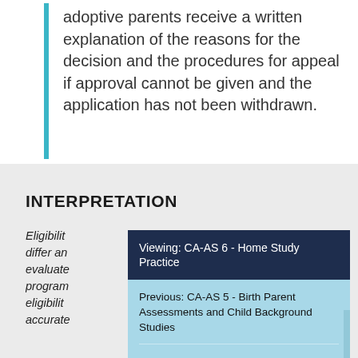adoptive parents receive a written explanation of the reasons for the decision and the procedures for appeal if approval cannot be given and the application has not been withdrawn.
INTERPRETATION
Eligibility ... differ an... evaluate... program... eligibility... accurate...
Viewing: CA-AS 6 - Home Study Practice
Previous: CA-AS 5 - Birth Parent Assessments and Child Background Studies
Next: CA-AS 7 - Training for Prospective Adoptive Parents